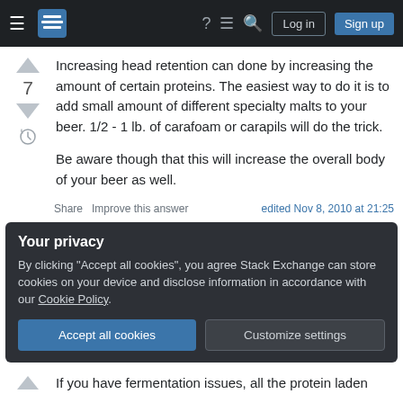Stack Exchange navigation bar with hamburger menu, logo, help, chat, search, Log in, Sign up
Increasing head retention can done by increasing the amount of certain proteins. The easiest way to do it is to add small amount of different specialty malts to your beer. 1/2 - 1 lb. of carafoam or carapils will do the trick.

Be aware though that this will increase the overall body of your beer as well.
Share   Improve this answer   edited Nov 8, 2010 at 21:25
Your privacy
By clicking "Accept all cookies", you agree Stack Exchange can store cookies on your device and disclose information in accordance with our Cookie Policy.
Accept all cookies   Customize settings
If you have fermentation issues, all the protein laden